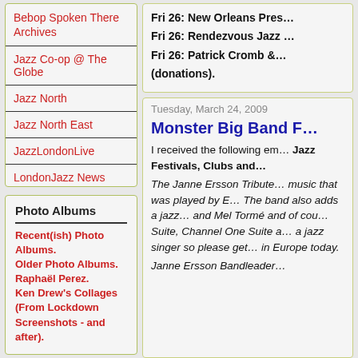Bebop Spoken There Archives
Jazz Co-op @ The Globe
Jazz North
Jazz North East
JazzLondonLive
LondonJazz News
Tees Hot Club
Photo Albums
Recent(ish) Photo Albums.
Older Photo Albums.
Raphaël Perez.
Ken Drew's Collages (From Lockdown Screenshots - and after).
Fri 26: New Orleans Pres…
Fri 26: Rendezvous Jazz …
Fri 26: Patrick Cromb &…
(donations).
Tuesday, March 24, 2009
Monster Big Band F…
I received the following em… Jazz Festivals, Clubs and…
The Janne Ersson Tribute… music that was played by E… The band also adds a jazz… and Mel Tormé and of cou… Suite, Channel One Suite a… a jazz singer so please get… in Europe today.
Janne Ersson Bandleader…